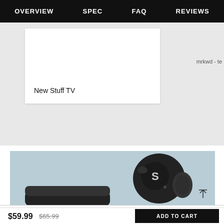OVERVIEW  SPEC  FAQ  REVIEWS
New Stuff TV
mrkwd - te
[Figure (photo): Wireless earbuds (black) on a light blue background, showing one earbud prominently with an 'S' logo on the ear tip, and the charging case partially visible at the bottom left.]
$59.99   $65.99
ADD TO CART